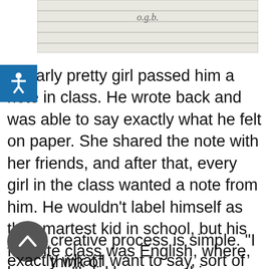[Figure (photo): Top portion of a lined notebook paper with handwritten letters 'o.g.b.' visible]
[Figure (illustration): Blue square accessibility/wheelchair icon overlay in top-left corner]
ticularly pretty girl passed him a note in class. He wrote back and was able to say exactly what he felt on paper. She shared the note with her friends, and after that, every girl in the class wanted a note from him. He wouldn't label himself as the smartest kid in school, but his favorite class was English, where, he says, "I did learn one thing, which was that pen and paper are a powerful communication tool."
[Figure (illustration): Dark grey circular scroll-up/back-to-top button with upward chevron arrow]
lue's creative process is simple. "I think of exactly what I want to say, sort of like